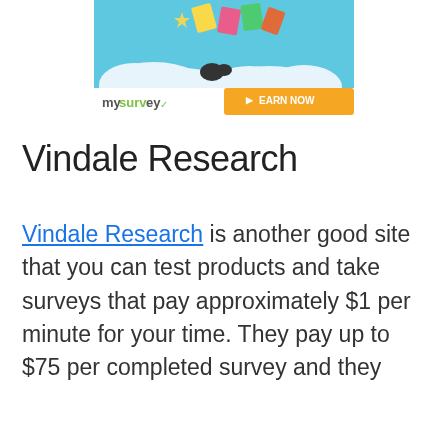[Figure (illustration): MySurvey advertisement banner with cartoon illustration of papers/documents flying above clouds, with 'mysurvey' logo and orange 'EARN NOW' button]
Vindale Research
Vindale Research is another good site that you can test products and take surveys that pay approximately $1 per minute for your time. They pay up to $75 per completed survey and they have paid out more than $3 Million t…